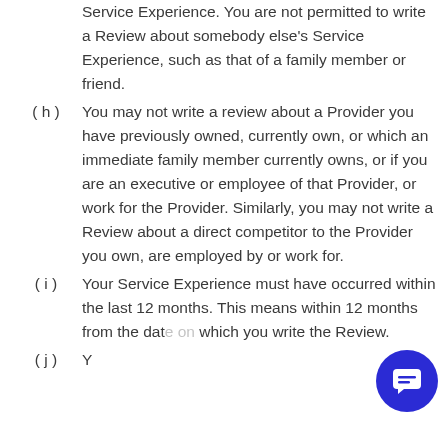Service Experience. You are not permitted to write a Review about somebody else's Service Experience, such as that of a family member or friend.
(h) You may not write a review about a Provider you have previously owned, currently own, or which an immediate family member currently owns, or if you are an executive or employee of that Provider, or work for the Provider. Similarly, you may not write a Review about a direct competitor to the Provider you own, are employed by or work for.
(i) Your Service Experience must have occurred within the last 12 months. This means within 12 months from the date on which you write the Review.
(j) You are required to specify...